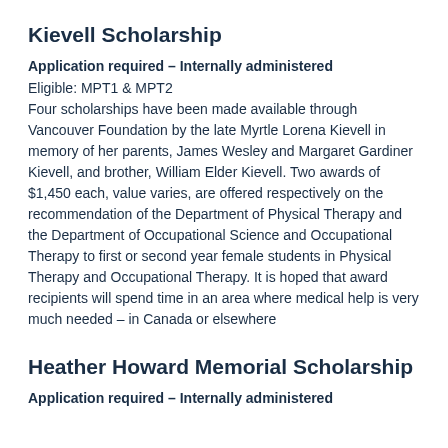Kievell Scholarship
Application required – Internally administered
Eligible: MPT1 & MPT2
Four scholarships have been made available through Vancouver Foundation by the late Myrtle Lorena Kievell in memory of her parents, James Wesley and Margaret Gardiner Kievell, and brother, William Elder Kievell. Two awards of $1,450 each, value varies, are offered respectively on the recommendation of the Department of Physical Therapy and the Department of Occupational Science and Occupational Therapy to first or second year female students in Physical Therapy and Occupational Therapy. It is hoped that award recipients will spend time in an area where medical help is very much needed – in Canada or elsewhere
Heather Howard Memorial Scholarship
Application required – Internally administered